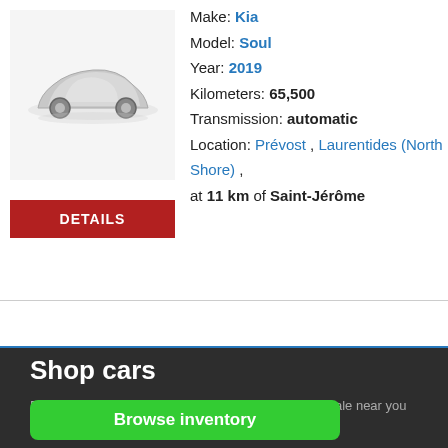[Figure (photo): Silver car silhouette image on light background]
DETAILS
Make: Kia
Model: Soul
Year: 2019
Kilometers: 65,500
Transmission: automatic
Location: Prévost , Laurentides (North Shore) ,
at 11 km of Saint-Jérôme
KIA Soul EX BA
Shop cars
Browse the new inventory of new and used cars for sale near you
Browse inventory